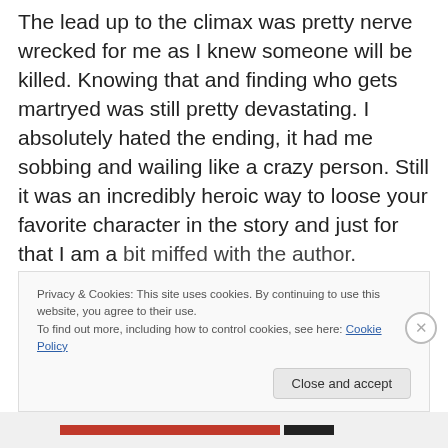The lead up to the climax was pretty nerve wrecked for me as I knew someone will be killed. Knowing that and finding who gets martryed was still pretty devastating. I absolutely hated the ending, it had me sobbing and wailing like a crazy person. Still it was an incredibly heroic way to loose your favorite character in the story and just for that I am a bit miffed with the author.
Privacy & Cookies: This site uses cookies. By continuing to use this website, you agree to their use. To find out more, including how to control cookies, see here: Cookie Policy